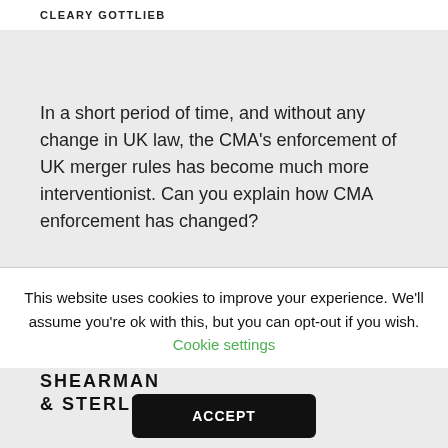CLEARY GOTTLIEB
In a short period of time, and without any change in UK law, the CMA's enforcement of UK merger rules has become much more interventionist. Can you explain how CMA enforcement has changed?
The UK financial restructuring market
[Figure (logo): Shearman & Sterling logo in bold uppercase letters]
This website uses cookies to improve your experience. We'll assume you're ok with this, but you can opt-out if you wish. Cookie settings
ACCEPT